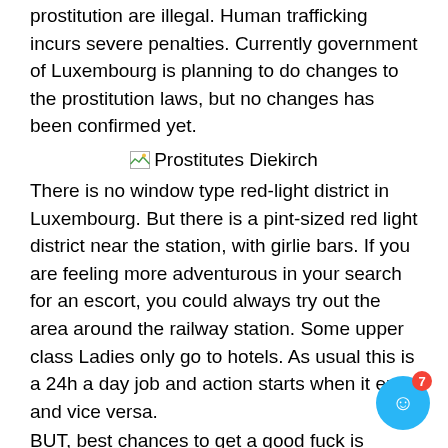prostitution are illegal. Human trafficking incurs severe penalties. Currently government of Luxembourg is planning to do changes to the prostitution laws, but no changes has been confirmed yet.
[Figure (illustration): Small broken image icon followed by text 'Prostitutes Diekirch']
There is no window type red-light district in Luxembourg. But there is a pint-sized red light district near the station, with girlie bars. If you are feeling more adventurous in your search for an escort, you could always try out the area around the railway station. Some upper class Ladies only go to hotels. As usual this is a 24h a day job and action starts when it ends and vice versa.
BUT, best chances to get a good fuck is around 10pm. The most beautiful ladies work from 9pm to 1am, after this hour you'll find a lot of black women imported from Belgium or directly from Africa.
Main street prostitution action in Luxembourg takes in the streets round the Poste centrale, Gare , route de